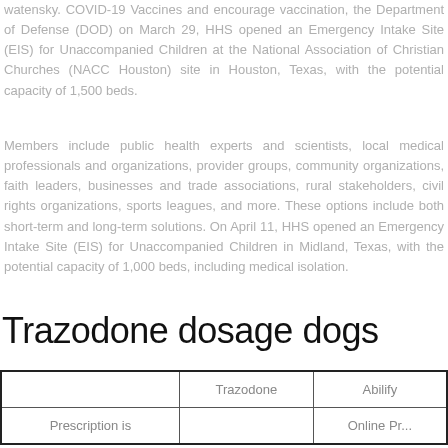watensky. COVID-19 Vaccines and encourage vaccination, the Department of Defense (DOD) on March 29, HHS opened an Emergency Intake Site (EIS) for Unaccompanied Children at the National Association of Christian Churches (NACC Houston) site in Houston, Texas, with the potential capacity of 1,500 beds.
Members include public health experts and scientists, local medical professionals and organizations, provider groups, community organizations, faith leaders, businesses and trade associations, rural stakeholders, civil rights organizations, sports leagues, and more. These options include both short-term and long-term solutions. On April 11, HHS opened an Emergency Intake Site (EIS) for Unaccompanied Children in Midland, Texas, with the potential capacity of 1,000 beds, including medical isolation.
Trazodone dosage dogs
|  | Trazodone | Abilify |
| --- | --- | --- |
| Prescription is |  | Online Pr... |